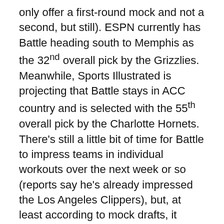only offer a first-round mock and not a second, but still). ESPN currently has Battle heading south to Memphis as the 32nd overall pick by the Grizzlies. Meanwhile, Sports Illustrated is projecting that Battle stays in ACC country and is selected with the 55th overall pick by the Charlotte Hornets. There's still a little bit of time for Battle to impress teams in individual workouts over the next week or so (reports say he's already impressed the Los Angeles Clippers), but, at least according to mock drafts, it doesn't look like Battle will get the first-round guarantee you'd like to see before you forego two years of eligibility.
Expert evaluation
×